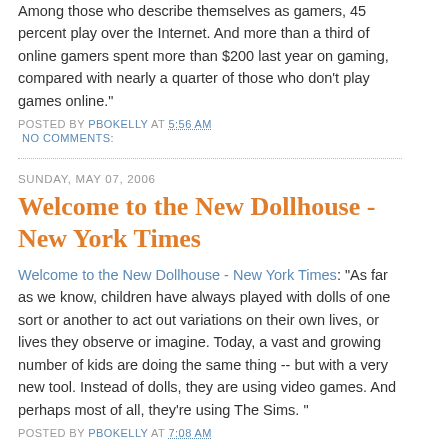Among those who describe themselves as gamers, 45 percent play over the Internet. And more than a third of online gamers spent more than $200 last year on gaming, compared with nearly a quarter of those who don't play games online."
POSTED BY PBOKELLY AT 5:56 AM
NO COMMENTS:
SUNDAY, MAY 07, 2006
Welcome to the New Dollhouse - New York Times
Welcome to the New Dollhouse - New York Times: "As far as we know, children have always played with dolls of one sort or another to act out variations on their own lives, or lives they observe or imagine. Today, a vast and growing number of kids are doing the same thing -- but with a very new tool. Instead of dolls, they are using video games. And perhaps most of all, they're using The Sims. "
POSTED BY PBOKELLY AT 7:08 AM